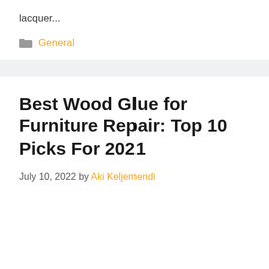lacquer...
General
Best Wood Glue for Furniture Repair: Top 10 Picks For 2021
July 10, 2022 by Aki Keljemendi